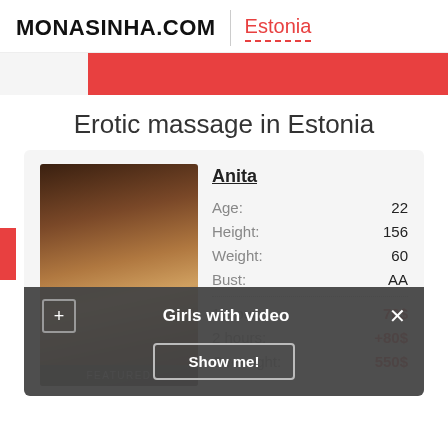MONASINHA.COM | Estonia
[Figure (photo): Red banner navigation bar]
Erotic massage in Estonia
[Figure (photo): Profile photo of Anita, a young woman in bikini]
Anita
Age: 22
Height: 156
Weight: 60
Bust: AA
1 Hour: 70$
2 hours: +80$
Overnight: 550$
FEATURED
Girls with video
Show me!